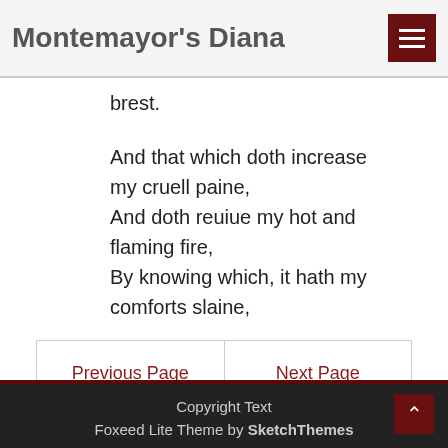Montemayor's Diana
brest.
And that which doth increase my cruell paine,
And doth reuiue my hot and flaming fire,
By knowing which, it hath my comforts slaine,
Previous Page	Next Page
Copyright Text
Foxeed Lite Theme by SketchThemes